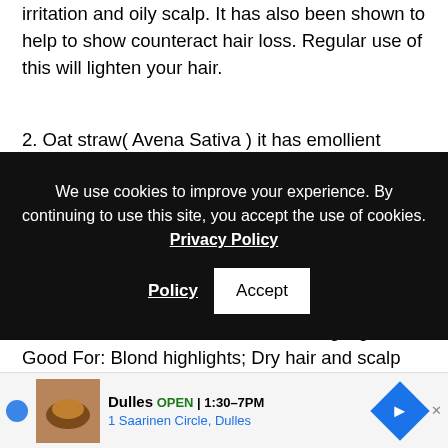irritation and oily scalp. It has also been shown to help to show counteract hair loss. Regular use of this will lighten your hair.
2. Oat straw( Avena Sativa ) it has emollient qualities that promotes softness, body and shine. It contains
[Figure (screenshot): Cookie consent banner with dark background. Text: 'We use cookies to improve your experience. By continuing to use this site, you accept the use of cookies. Privacy Policy' with an Accept button.]
scalp conditions and dry hair and scalp. Mullein can be used as a floral rinse to add highlights. Good For: Blond highlights; Dry hair and scalp
ndelion( Yaraxacum officinale ): Taraxacum
[Figure (screenshot): Advertisement bar: Dulles OPEN 1:30-7PM, 1 Saarinen Circle, Dulles, with a blue diamond directional arrow icon.]